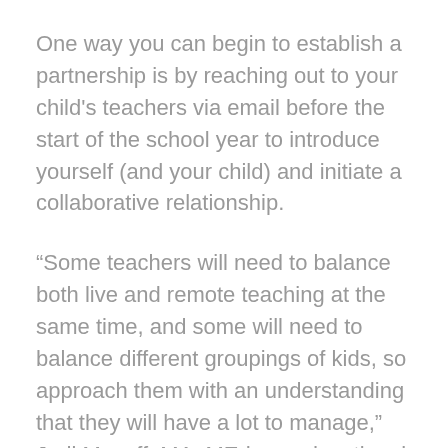One way you can begin to establish a partnership is by reaching out to your child's teachers via email before the start of the school year to introduce yourself (and your child) and initiate a collaborative relationship.
“Some teachers will need to balance both live and remote teaching at the same time, and some will need to balance different groupings of kids, so approach them with an understanding that they will have a lot to manage,” Jodi Musoff, MA, MEd, an educational specialist at the Child Mind Institute, recommends. In that introductory email, include information about how your child handled distance learning this past spring and their academic strengths and weaknesses. You can also take an opportunit…